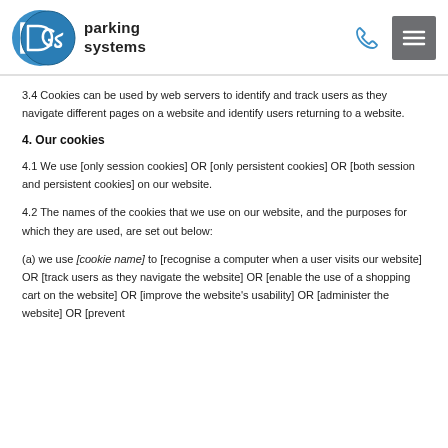[Figure (logo): DGS Parking Systems logo with circular blue emblem and company name]
3.4 Cookies can be used by web servers to identify and track users as they navigate different pages on a website and identify users returning to a website.
4. Our cookies
4.1 We use [only session cookies] OR [only persistent cookies] OR [both session and persistent cookies] on our website.
4.2 The names of the cookies that we use on our website, and the purposes for which they are used, are set out below:
(a) we use [cookie name] to [recognise a computer when a user visits our website] OR [track users as they navigate the website] OR [enable the use of a shopping cart on the website] OR [improve the website's usability] OR [administer the website] OR [prevent